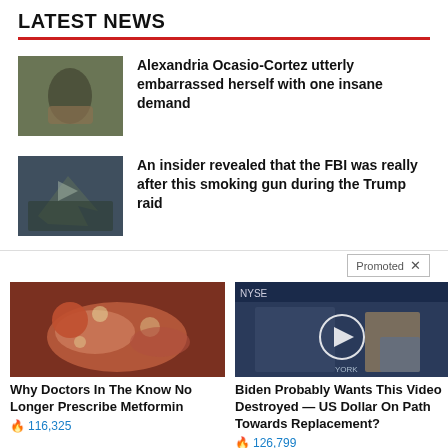LATEST NEWS
Alexandria Ocasio-Cortez utterly embarrassed herself with one insane demand
An insider revealed that the FBI was really after this smoking gun during the Trump raid
Promoted
[Figure (photo): Promoted ad image: medical/biological photo (pancreas)]
Why Doctors In The Know No Longer Prescribe Metformin
116,325
[Figure (photo): Promoted ad image: NYSE TV studio video thumbnail with play button]
Biden Probably Wants This Video Destroyed — US Dollar On Path Towards Replacement?
126,799